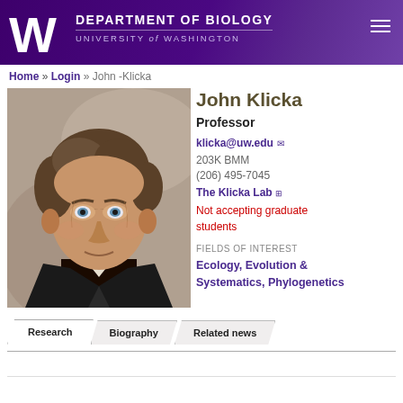DEPARTMENT OF BIOLOGY | UNIVERSITY of WASHINGTON
Home » Login » John -Klicka
[Figure (photo): Headshot portrait of John Klicka, a man with curly brown hair, looking at the camera with a serious expression, wearing a dark jacket.]
John Klicka
Professor
klicka@uw.edu
203K BMM
(206) 495-7045
The Klicka Lab
Not accepting graduate students
FIELDS OF INTEREST
Ecology, Evolution & Systematics, Phylogenetics